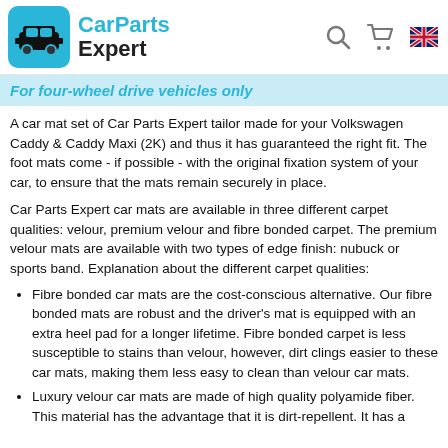CarParts Expert
For four-wheel drive vehicles only
A car mat set of Car Parts Expert tailor made for your Volkswagen Caddy & Caddy Maxi (2K) and thus it has guaranteed the right fit. The foot mats come - if possible - with the original fixation system of your car, to ensure that the mats remain securely in place.
Car Parts Expert car mats are available in three different carpet qualities: velour, premium velour and fibre bonded carpet. The premium velour mats are available with two types of edge finish: nubuck or sports band. Explanation about the different carpet qualities:
Fibre bonded car mats are the cost-conscious alternative. Our fibre bonded mats are robust and the driver’s mat is equipped with an extra heel pad for a longer lifetime. Fibre bonded carpet is less susceptible to stains than velour, however, dirt clings easier to these car mats, making them less easy to clean than velour car mats.
Luxury velour car mats are made of high quality polyamide fiber. This material has the advantage that it is dirt-repellent. It has a